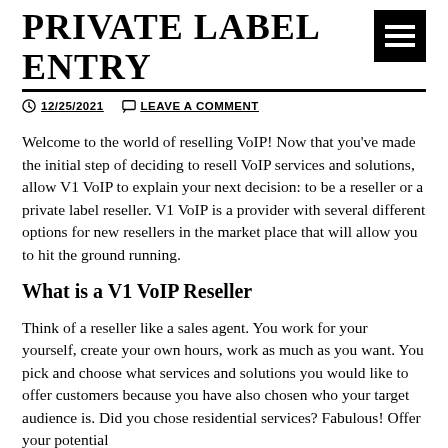PRIVATE LABEL ENTRY
12/25/2021   LEAVE A COMMENT
Welcome to the world of reselling VoIP! Now that you've made the initial step of deciding to resell VoIP services and solutions, allow V1 VoIP to explain your next decision: to be a reseller or a private label reseller. V1 VoIP is a provider with several different options for new resellers in the market place that will allow you to hit the ground running.
What is a V1 VoIP Reseller
Think of a reseller like a sales agent. You work for your yourself, create your own hours, work as much as you want. You pick and choose what services and solutions you would like to offer customers because you have also chosen who your target audience is. Did you chose residential services? Fabulous! Offer your potential customers termination and origination services, all the